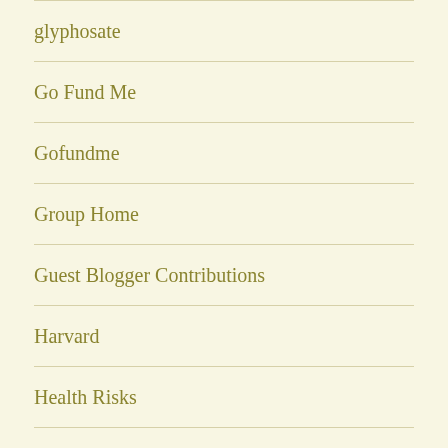glyphosate
Go Fund Me
Gofundme
Group Home
Guest Blogger Contributions
Harvard
Health Risks
Heart Disease